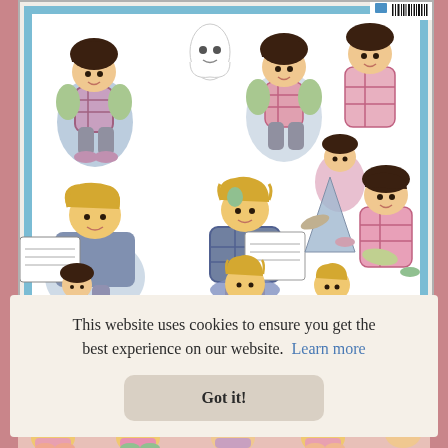[Figure (illustration): A craft/decoupage sheet featuring cartoon children characters in pajamas in various poses - some with dark hair sitting in chairs, some with blonde hair reading newspapers, scattered accessories. Light blue border around the sheet. Barcode and logo visible in top right corner.]
This website uses cookies to ensure you get the best experience on our website.  Learn more
Got it!
[Figure (illustration): Bottom strip showing partial view of another craft/decoupage sheet with similar cartoon children characters in pink/colorful pajamas.]